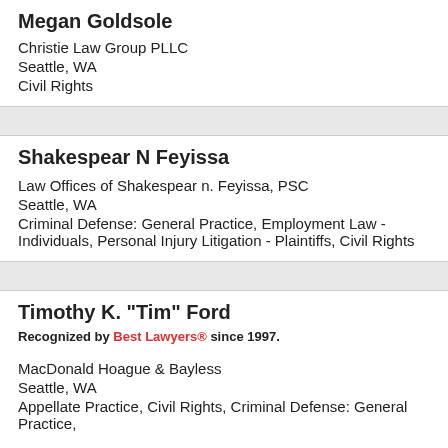Megan Goldsole
Christie Law Group PLLC
Seattle, WA
Civil Rights
Shakespear N Feyissa
Law Offices of Shakespear n. Feyissa, PSC
Seattle, WA
Criminal Defense: General Practice, Employment Law - Individuals, Personal Injury Litigation - Plaintiffs, Civil Rights
Timothy K. "Tim" Ford
Recognized by Best Lawyers® since 1997.
MacDonald Hoague & Bayless
Seattle, WA
Appellate Practice, Civil Rights, Criminal Defense: General Practice,